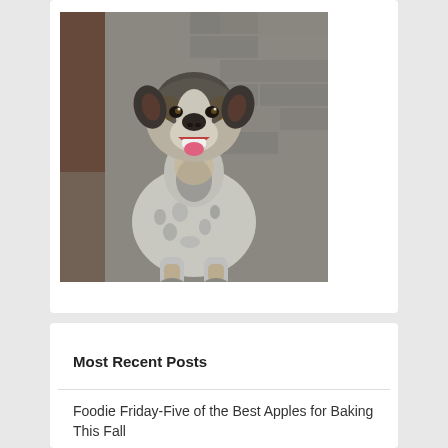[Figure (photo): A Blue Heeler (Australian Cattle Dog) sitting on a brick/stone patio, looking up at the camera with mouth open, showing a mix of black, white, tan, and grey coloring. Background shows brick pavers and some foliage.]
Most Recent Posts
Foodie Friday-Five of the Best Apples for Baking This Fall